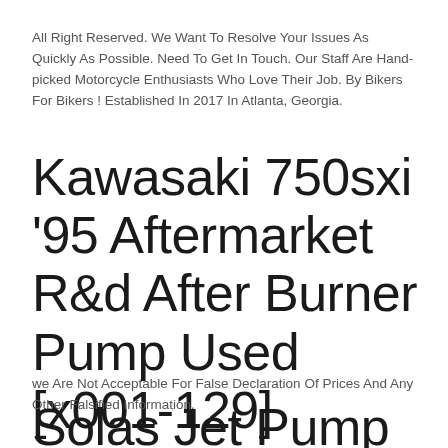All Right Reserved. We Want To Resolve Your Issues As Quickly As Possible. Need To Get In Touch. Our Staff Are Hand-picked Motorcycle Enthusiasts Who Love Their Job. By Bikers For Bikers ! Established In 2017 In Atlanta, Georgia.
Kawasaki 750sxi '95 Aftermarket R&d After Burner Pump Used [x001-129]
we Are Not Acceptable For False Declaration Of Prices And Any Other Falsified Information.
Solas Jet Pump Kps-pm 140/74+